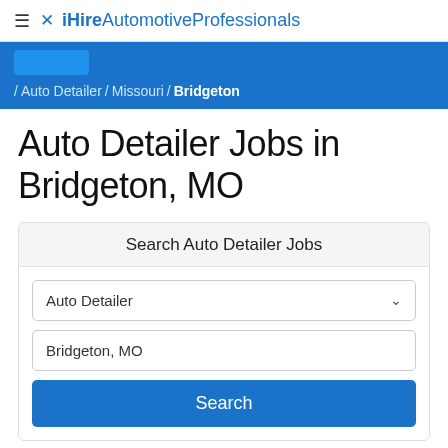≡ ✗ iHireAutomotiveProfessionals
/ Auto Detailer / Missouri / Bridgeton
Auto Detailer Jobs in Bridgeton, MO
Search Auto Detailer Jobs
Auto Detailer
Bridgeton, MO
Search
1-15 of 40 Jobs